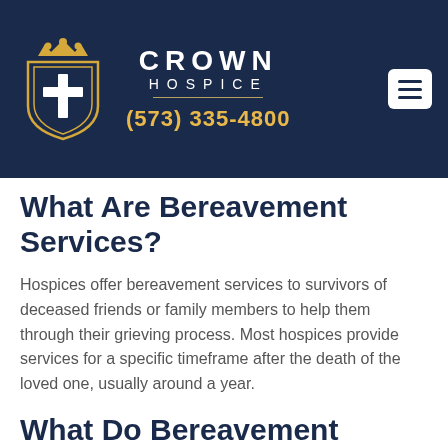[Figure (logo): Crown Hospice logo with shield containing a cross and crown, navy background header with phone number (573) 335-4800]
What Are Bereavement Services?
Hospices offer bereavement services to survivors of deceased friends or family members to help them through their grieving process. Most hospices provide services for a specific timeframe after the death of the loved one, usually around a year.
What Do Bereavement Services Include?